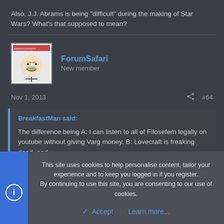Also, J.J. Abrams is being "difficult" during the making of Star Wars? What's that supposed to mean?
ForumSafari
New member
Nov 1, 2013  #64
BreakfastMan said:
The difference being A: I can listen to all of Filosofem legally on youtube without giving Varg money, B: Lovecraft is freaking dead, and C: Card actually donates loads of money to hate groups, hence the
This site uses cookies to help personalise content, tailor your experience and to keep you logged in if you register.
By continuing to use this site, you are consenting to our use of cookies.
Accept  Learn more...